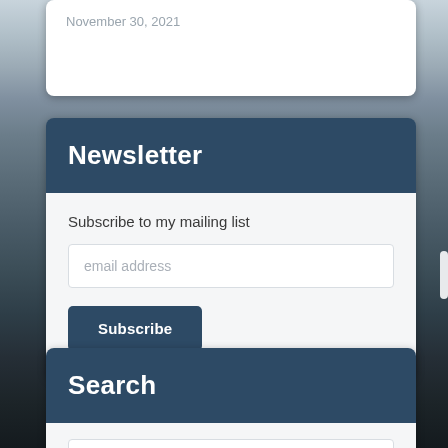November 30, 2021
Newsletter
Subscribe to my mailing list
email address
Subscribe
Search
Search ...